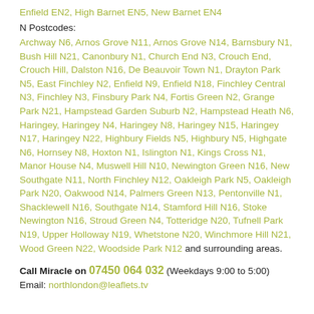Enfield EN2, High Barnet EN5, New Barnet EN4
N Postcodes:
Archway N6, Arnos Grove N11, Arnos Grove N14, Barnsbury N1, Bush Hill N21, Canonbury N1, Church End N3, Crouch End, Crouch Hill, Dalston N16, De Beauvoir Town N1, Drayton Park N5, East Finchley N2, Enfield N9, Enfield N18, Finchley Central N3, Finchley N3, Finsbury Park N4, Fortis Green N2, Grange Park N21, Hampstead Garden Suburb N2, Hampstead Heath N6, Haringey, Haringey N4, Haringey N8, Haringey N15, Haringey N17, Haringey N22, Highbury Fields N5, Highbury N5, Highgate N6, Hornsey N8, Hoxton N1, Islington N1, Kings Cross N1, Manor House N4, Muswell Hill N10, Newington Green N16, New Southgate N11, North Finchley N12, Oakleigh Park N5, Oakleigh Park N20, Oakwood N14, Palmers Green N13, Pentonville N1, Shacklewell N16, Southgate N14, Stamford Hill N16, Stoke Newington N16, Stroud Green N4, Totteridge N20, Tufnell Park N19, Upper Holloway N19, Whetstone N20, Winchmore Hill N21, Wood Green N22, Woodside Park N12 and surrounding areas.
Call Miracle on 07450 064 032 (Weekdays 9:00 to 5:00)
Email: northlondon@leaflets.tv